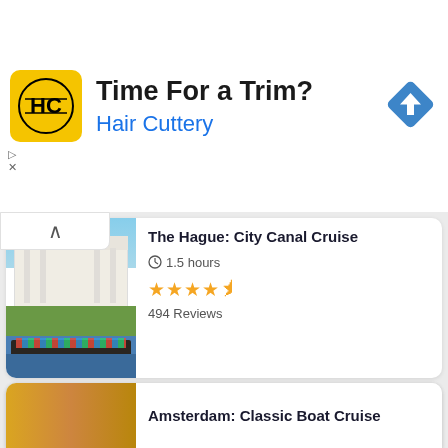[Figure (screenshot): Hair Cuttery advertisement banner with yellow logo, text 'Time For a Trim?' and 'Hair Cuttery' in blue, with blue diamond direction arrow icon]
The Hague: City Canal Cruise
1.5 hours
494 Reviews
Amsterdam: City Canal Cruise
75 minutes
5531 Reviews
Amsterdam: Classic Boat Cruise